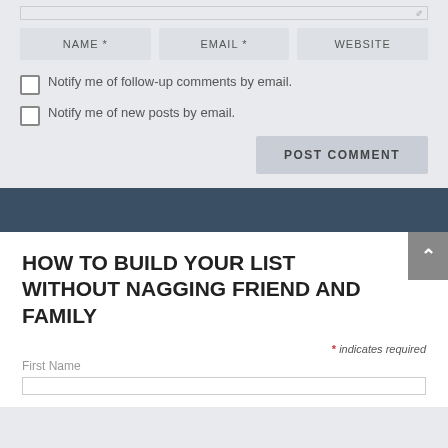[Figure (screenshot): Top edge of a textarea form field with a resize handle icon in the corner]
NAME *
EMAIL *
WEBSITE
Notify me of follow-up comments by email.
Notify me of new posts by email.
POST COMMENT
HOW TO BUILD YOUR LIST WITHOUT NAGGING FRIEND AND FAMILY
* indicates required
First Name